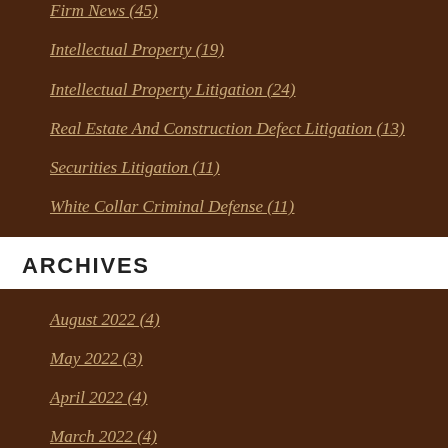Firm News (45)
Intellectual Property (19)
Intellectual Property Litigation (24)
Real Estate And Construction Defect Litigation (13)
Securities Litigation (11)
White Collar Criminal Defense (11)
ARCHIVES
August 2022 (4)
May 2022 (3)
April 2022 (4)
March 2022 (4)